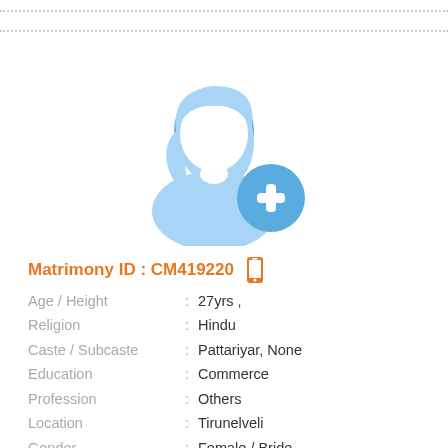[Figure (illustration): Female profile silhouette icon in light blue with a blue circle plus (+) badge at bottom right, indicating add photo placeholder]
Matrimony ID : CM419220
Age / Height : 27yrs ,
Religion : Hindu
Caste / Subcaste : Pattariyar, None
Education : Commerce
Profession : Others
Location : Tirunelveli
Gender : Female / Bride
Star / Rasi : Does not matter , Does not